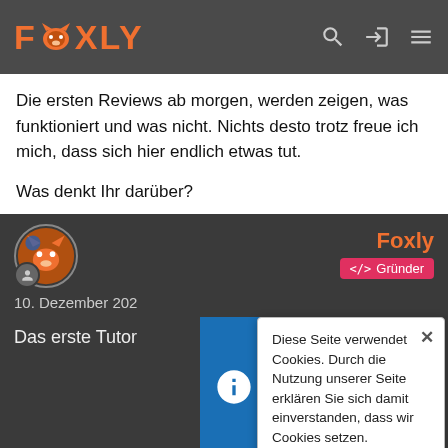FOXLY
Die ersten Reviews ab morgen, werden zeigen, was funktioniert und was nicht. Nichts desto trotz freue ich mich, dass sich hier endlich etwas tut.
Was denkt Ihr darüber?
Foxly
</> Gründer
10. Dezember 202
Das erste Tutor
Diese Seite verwendet Cookies. Durch die Nutzung unserer Seite erklären Sie sich damit einverstanden, dass wir Cookies setzen.
WEITERE INFORMATIONEN
Foxly